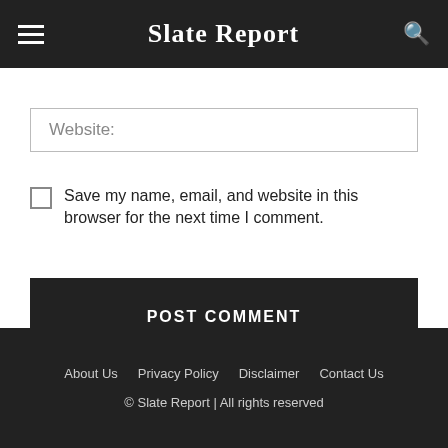Slate Report
Website:
Save my name, email, and website in this browser for the next time I comment.
POST COMMENT
About Us   Privacy Policy   Disclaimer   Contact Us   © Slate Report | All rights reserved